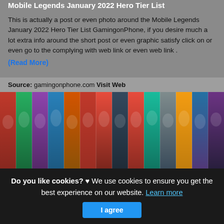Mobile Legends January 2022 Hero Tier List
This is actually a post or even photo around the Mobile Legends January 2022 Hero Tier List GamingonPhone, if you desire much a lot extra info around the short post or even graphic satisfy click on or even go to the complying with web link or even web link .
(Read More)
Source: gamingonphone.com Visit Web
[Figure (photo): A wide horizontal strip showing multiple Mobile Legends hero character artworks arranged side by side in vertical panels, with colorful fantasy game characters.]
Do you like cookies? ♥ We use cookies to ensure you get the best experience on our website. Learn more
I agree